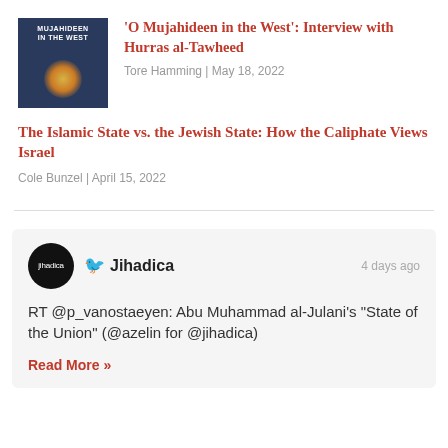[Figure (photo): Book cover: 'Mujahideen in the West' with bright light explosion in background, dark blue tones]
'O Mujahideen in the West': Interview with Hurras al-Tawheed
Tore Hamming | May 18, 2022
The Islamic State vs. the Jewish State: How the Caliphate Views Israel
Cole Bunzel | April 15, 2022
[Figure (screenshot): Embedded tweet card from Jihadica Twitter account. Header shows Jihadica avatar (black circle with jihadica text), Twitter bird icon, name 'Jihadica', and '4 days ago'. Tweet text: RT @p_vanostaeyen: Abu Muhammad al-Julani's "State of the Union" (@azelin for @jihadica). Read More link in red.]
RT @p_vanostaeyen: Abu Muhammad al-Julani's "State of the Union" (@azelin for @jihadica)
Read More »